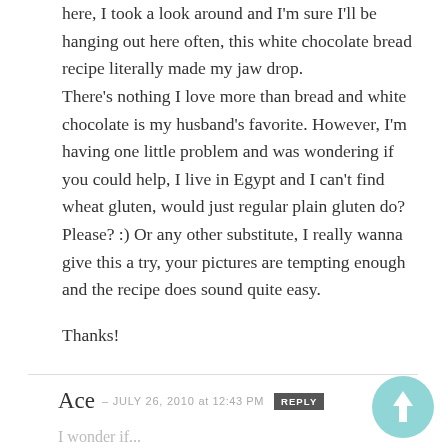here, I took a look around and I'm sure I'll be hanging out here often, this white chocolate bread recipe literally made my jaw drop.
There's nothing I love more than bread and white chocolate is my husband's favorite. However, I'm having one little problem and was wondering if you could help, I live in Egypt and I can't find wheat gluten, would just regular plain gluten do? Please? :) Or any other substitute, I really wanna give this a try, your pictures are tempting enough and the recipe does sound quite easy.

Thanks!
Ace – JULY 26, 2010 at 12:43 PM REPLY
I wonder if...